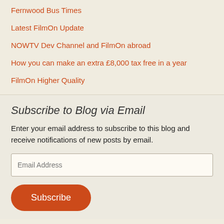Fernwood Bus Times
Latest FilmOn Update
NOWTV Dev Channel and FilmOn abroad
How you can make an extra £8,000 tax free in a year
FilmOn Higher Quality
Subscribe to Blog via Email
Enter your email address to subscribe to this blog and receive notifications of new posts by email.
Email Address
Subscribe